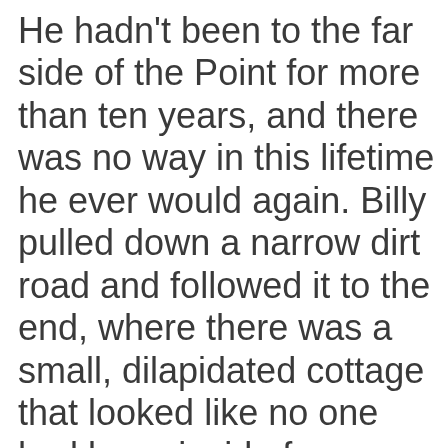He hadn't been to the far side of the Point for more than ten years, and there was no way in this lifetime he ever would again. Billy pulled down a narrow dirt road and followed it to the end, where there was a small, dilapidated cottage that looked like no one had been inside for years. The fields around the house were overgrown, and they sloped down toward the water. They were on the north side of the island and